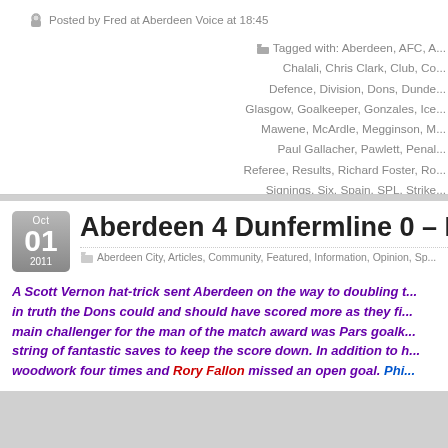Posted by Fred at Aberdeen Voice at 18:45
Tagged with: Aberdeen, AFC, A... Chalali, Chris Clark, Club, Co... Defence, Division, Dons, Dunde... Glasgow, Goalkeeper, Gonzales, Ice... Mawene, McArdle, Megginson, M... Paul Gallacher, Pawlett, Penal... Referee, Results, Richard Foster, Ro... Signings, Six, Spain, SPL, Strike...
Aberdeen 4 Dunfermline 0 – Pittod...
Aberdeen City, Articles, Community, Featured, Information, Opinion, Sp...
A Scott Vernon hat-trick sent Aberdeen on the way to doubling t... in truth the Dons could and should have scored more as they fi... main challenger for the man of the match award was Pars goalk... string of fantastic saves to keep the score down. In addition to h... woodwork four times and Rory Fallon missed an open goal. Phi...